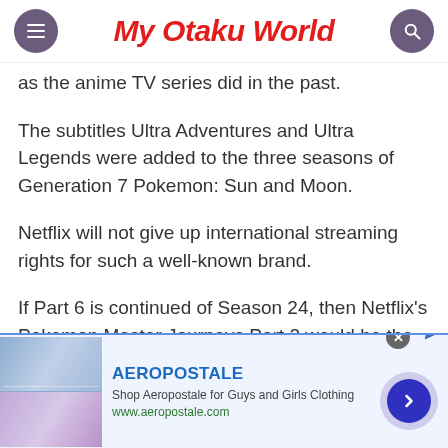My Otaku World
as the anime TV series did in the past.
The subtitles Ultra Adventures and Ultra Legends were added to the three seasons of Generation 7 Pokemon: Sun and Moon.
Netflix will not give up international streaming rights for such a well-known brand.
If Part 6 is continued of Season 24, then Netflix's Pokemon Master Journeys Part 2 would be the sequel.
[Figure (screenshot): Aeropostale advertisement banner with clothing images, brand name, tagline 'Shop Aeropostale for Guys and Girls Clothing', URL www.aeropostale.com, and a navigation arrow button]